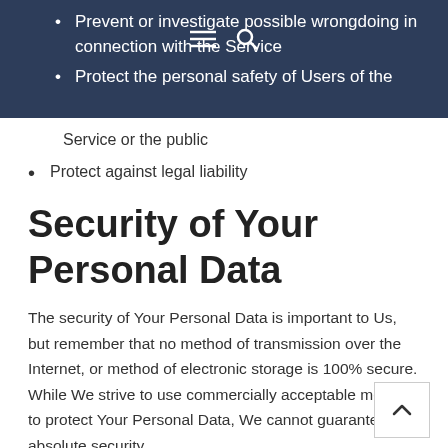Prevent or investigate possible wrongdoing in connection with the Service
Protect the personal safety of Users of the
Service or the public
Protect against legal liability
Security of Your Personal Data
The security of Your Personal Data is important to Us, but remember that no method of transmission over the Internet, or method of electronic storage is 100% secure. While We strive to use commercially acceptable means to protect Your Personal Data, We cannot guarantee its absolute security.
Children's Privacy